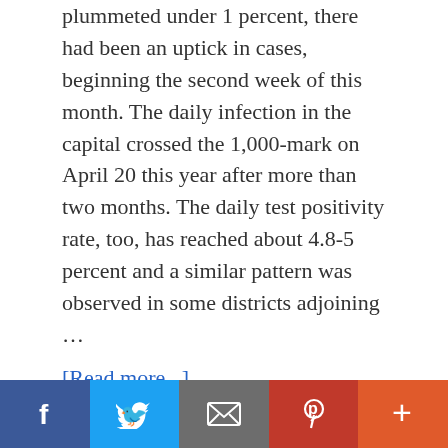plummeted under 1 percent, there had been an uptick in cases, beginning the second week of this month. The daily infection in the capital crossed the 1,000-mark on April 20 this year after more than two months. The daily test positivity rate, too, has reached about 4.8-5 percent and a similar pattern was observed in some districts adjoining …
[Read more...]
Filed Under: Uncategorized
COVID-19, COVID cases, COVID in Delhi, Omicron, how soon can you show signs of pregnancy, Delhi Auto Show, traffic signs and signals show who, Show Signs, Sign
[Figure (other): Social sharing bar with Facebook, Twitter, Email, Pinterest, and More buttons]